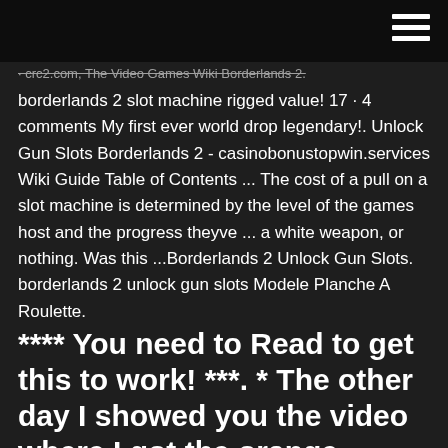· crc2.com, The Video Games Wiki Borderlands 2.
borderlands 2 slot machine rigged value! 17 · 4 comments My first ever world drop legendary!. Unlock Gun Slots Borderlands 2 - casinobonustopwin.services Wiki Guide Table of Contents ... The cost of a pull on a slot machine is determined by the level of the games host and the progress theyve ... a white weapon, or nothing. Was this ...Borderlands 2 Unlock Gun Slots. borderlands 2 unlock gun slots Modele Planche A Roulette.
**** You need to Read to get this to work! ***. * The other day I showed you the video where I got the orange weapons. Well here is